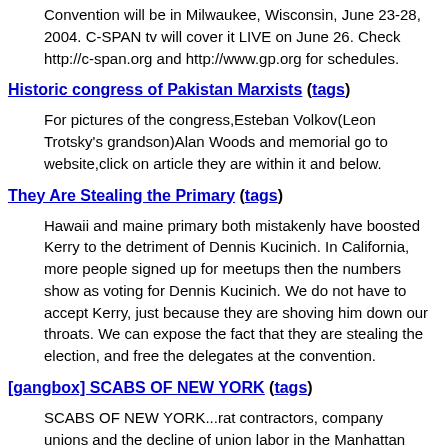Convention will be in Milwaukee, Wisconsin, June 23-28, 2004. C-SPAN tv will cover it LIVE on June 26. Check http://c-span.org and http://www.gp.org for schedules.
Historic congress of Pakistan Marxists (tags)
For pictures of the congress,Esteban Volkov(Leon Trotsky's grandson)Alan Woods and memorial go to website,click on article they are within it and below.
They Are Stealing the Primary (tags)
Hawaii and maine primary both mistakenly have boosted Kerry to the detriment of Dennis Kucinich. In California, more people signed up for meetups then the numbers show as voting for Dennis Kucinich. We do not have to accept Kerry, just because they are shoving him down our throats. We can expose the fact that they are stealing the election, and free the delegates at the convention.
[gangbox] SCABS OF NEW YORK (tags)
SCABS OF NEW YORK...rat contractors, company unions and the decline of union labor in the Manhattan